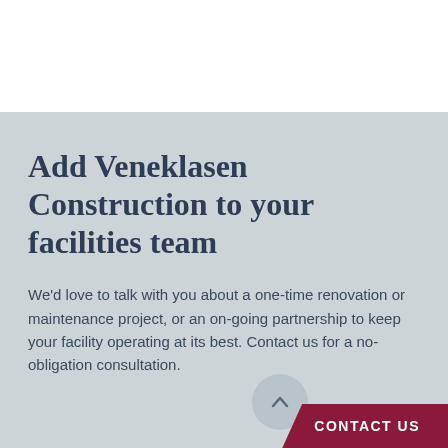Add Veneklasen Construction to your facilities team
We'd love to talk with you about a one-time renovation or maintenance project, or an on-going partnership to keep your facility operating at its best. Contact us for a no-obligation consultation.